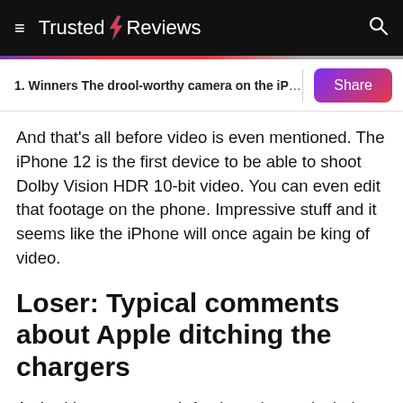Trusted Reviews
1. Winners The drool-worthy camera on the iPho…
And that's all before video is even mentioned. The iPhone 12 is the first device to be able to shoot Dolby Vision HDR 10-bit video. You can even edit that footage on the phone. Impressive stuff and it seems like the iPhone will once again be king of video.
Loser: Typical comments about Apple ditching the chargers
As had been expected, Apple no longer includes a charger or headphones (apart from in certain countries) with its new iPhones. This move was rumoured for ages and seemed even more likely after it ditched the bricks from the Apple Watch 6. Users will now either have to use an older